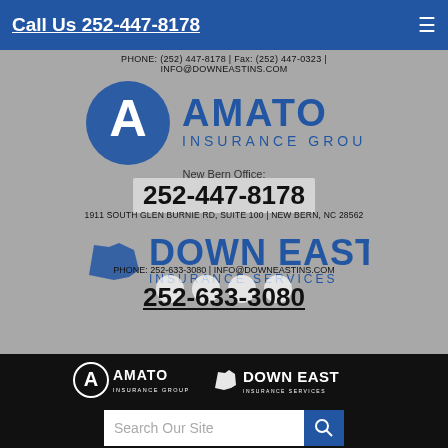Call Us 252-447-8178
[Figure (logo): Amato Insurance Group logo with 'A' circle emblem]
PHONE: (252) 447-8178 | Fax: (252) 447-0323 | INFO@DOWINEASTINS.COM
New Bern Office:
252-447-8178
1911 SOUTH GLEN BURNIE RD, SUITE 100 | NEW BERN, NC 28562
[Figure (logo): Down East Insurance Services logo with NC state shape]
PHONE: 252-633-3080 | INFO@DOWNEASTINS.COM
252-633-3080
[Figure (logo): Amato Insurance Group white logo footer]
[Figure (logo): Down East Insurance Services white logo footer]
Search Our Site
Powered by Insurance Website Builder